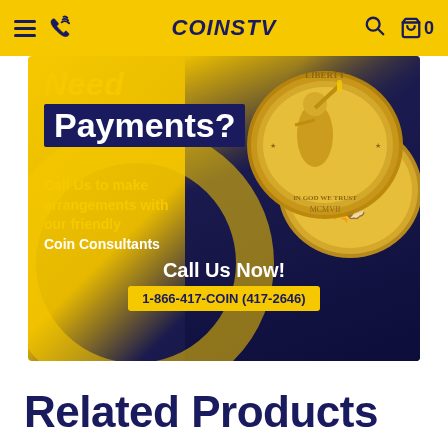COINS TV — navigation header with hamburger menu, phone icon, logo, search icon, and cart (0)
[Figure (infographic): Advertisement banner for CoinsTV payment plans. Dark blue and yellow background with gold coins (Saint-Gaudens Double Eagle design). Text: 'Need Payments? Call Us to make arrangements with our friendly Coin Consultants. Call Us Now! 1-866-417-COIN (417-2646)']
Related Products